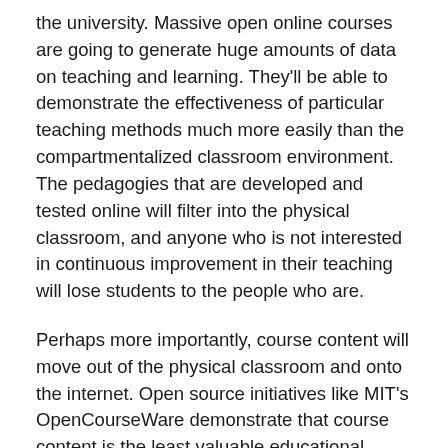the university. Massive open online courses are going to generate huge amounts of data on teaching and learning. They'll be able to demonstrate the effectiveness of particular teaching methods much more easily than the compartmentalized classroom environment. The pedagogies that are developed and tested online will filter into the physical classroom, and anyone who is not interested in continuous improvement in their teaching will lose students to the people who are.
Perhaps more importantly, course content will move out of the physical classroom and onto the internet. Open source initiatives like MIT's OpenCourseWare demonstrate that course content is the least valuable educational component that universities have to offer, so it's simply given away for free. The more valuable forms of learning that cannot be easily replicated online – research, project design and execution, problem solving, peer-to-peer